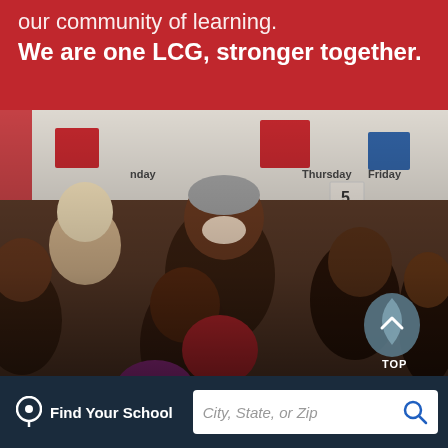our community of learning. We are one LCG, stronger together.
[Figure (photo): A smiling adult woman surrounded by several laughing children in a classroom setting with a calendar/schedule board visible in the background.]
TOP
Find Your School   City, State, or Zip